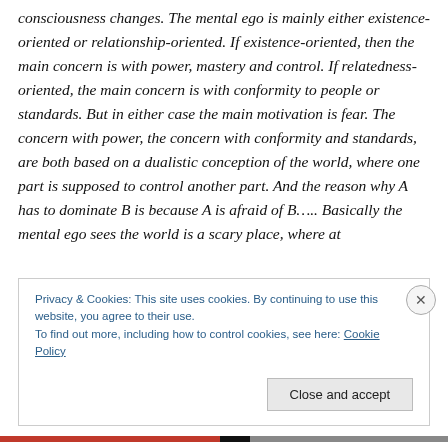consciousness changes. The mental ego is mainly either existence-oriented or relationship-oriented. If existence-oriented, then the main concern is with power, mastery and control. If relatedness-oriented, the main concern is with conformity to people or standards. But in either case the main motivation is fear. The concern with power, the concern with conformity and standards, are both based on a dualistic conception of the world, where one part is supposed to control another part. And the reason why A has to dominate B is because A is afraid of B….. Basically the mental ego sees the world is a scary place, where at
Privacy & Cookies: This site uses cookies. By continuing to use this website, you agree to their use.
To find out more, including how to control cookies, see here: Cookie Policy
Close and accept